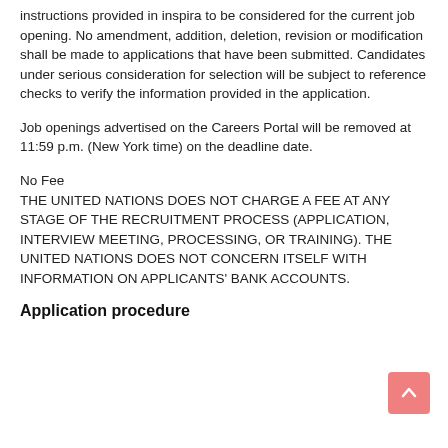instructions provided in inspira to be considered for the current job opening. No amendment, addition, deletion, revision or modification shall be made to applications that have been submitted. Candidates under serious consideration for selection will be subject to reference checks to verify the information provided in the application.
Job openings advertised on the Careers Portal will be removed at 11:59 p.m. (New York time) on the deadline date.
No Fee
THE UNITED NATIONS DOES NOT CHARGE A FEE AT ANY STAGE OF THE RECRUITMENT PROCESS (APPLICATION, INTERVIEW MEETING, PROCESSING, OR TRAINING). THE UNITED NATIONS DOES NOT CONCERN ITSELF WITH INFORMATION ON APPLICANTS' BANK ACCOUNTS.
Application procedure